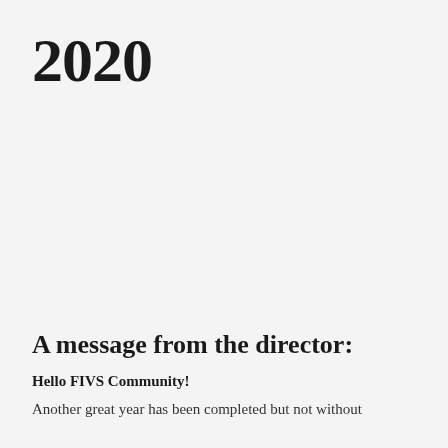2020
A message from the director:
Hello FIVS Community!
Another great year has been completed but not without